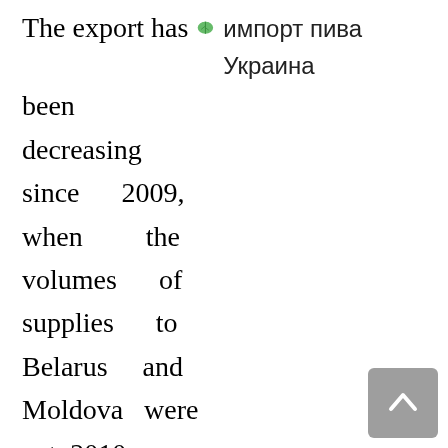The export has [leaf icon] импорт пива Украина been decreasing since 2009, when the volumes of supplies to Belarus and Moldova were cut. 2010 saw a fall due to reduction of exports to Russia. In the first place the reduction was caused by distributors' forming excess stocking in 2009,